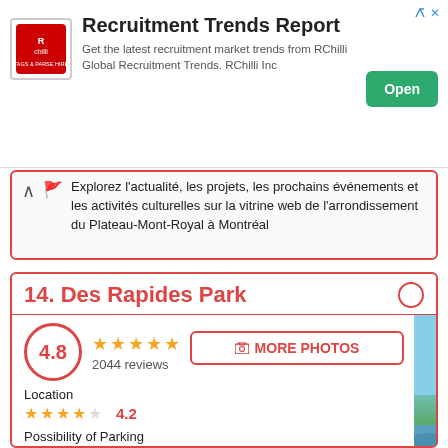[Figure (other): RChilli Recruitment Trends Report advertisement banner with logo, text, and Open button]
Explorez l'actualité, les projets, les prochains événements et les activités culturelles sur la vitrine web de l'arrondissement du Plateau-Mont-Royal à Montréal
14. Des Rapides Park
4.8
2044 reviews
Location
4.2
Possibility of Parking
4.3
Surroundings
[Figure (photo): Outdoor photo of Des Rapides Park showing trees and water/rapids with blue sky]